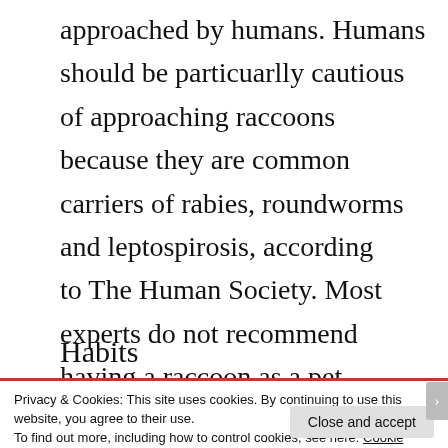approached by humans. Humans should be particuarlly cautious of approaching raccoons because they are common carriers of rabies, roundworms and leptospirosis, according to The Human Society. Most experts do not recommend having a raccoon as a pet.
Habits
Privacy & Cookies: This site uses cookies. By continuing to use this website, you agree to their use.
To find out more, including how to control cookies, see here: Cookie Policy